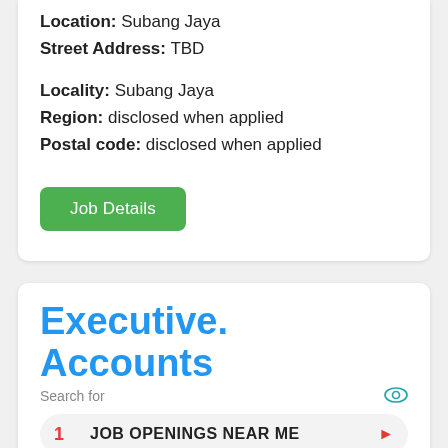Location: Subang Jaya
Street Address: TBD
Locality: Subang Jaya
Region: disclosed when applied
Postal code: disclosed when applied
Job Details
Executive. Accounts
Search for
1  JOB OPENINGS NEAR ME
2  IMMEDIATE JOB HIRING
Ad | Business Focus